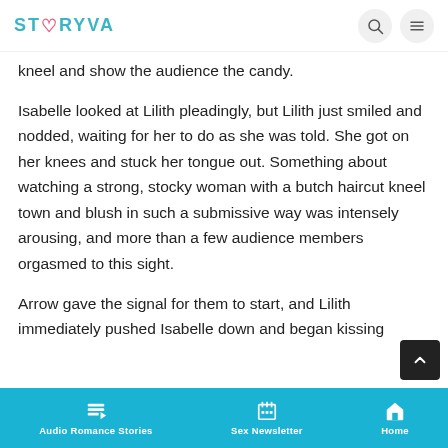STORYVA
kneel and show the audience the candy.
Isabelle looked at Lilith pleadingly, but Lilith just smiled and nodded, waiting for her to do as she was told. She got on her knees and stuck her tongue out. Something about watching a strong, stocky woman with a butch haircut kneel town and blush in such a submissive way was intensely arousing, and more than a few audience members orgasmed to this sight.
Arrow gave the signal for them to start, and Lilith immediately pushed Isabelle down and began kissing
Audio Romance Stories   Sex Newsletter   Home